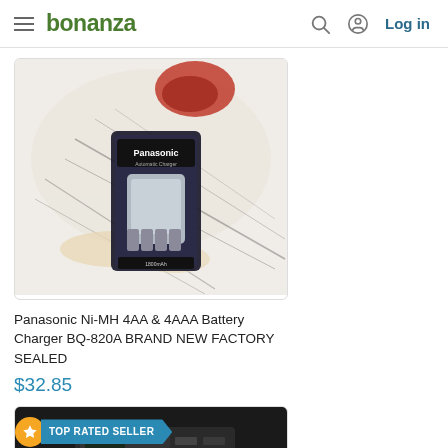bonanza  Log in
[Figure (photo): Panasonic Ni-MH 4AA & 4AAA Battery Charger BQ-820A product photo in retail packaging, placed on a comic book style illustrated background]
Panasonic Ni-MH 4AA & 4AAA Battery Charger BQ-820A BRAND NEW FACTORY SEALED
$32.85
[Figure (photo): TOP RATED SELLER badge overlaid on product image of a dark electronic charger/device on black background]